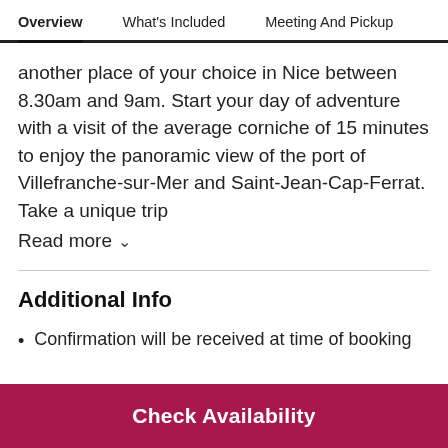Overview | What's Included | Meeting And Pickup
another place of your choice in Nice between 8.30am and 9am. Start your day of adventure with a visit of the average corniche of 15 minutes to enjoy the panoramic view of the port of Villefranche-sur-Mer and Saint-Jean-Cap-Ferrat. Take a unique trip
Read more
Additional Info
Confirmation will be received at time of booking